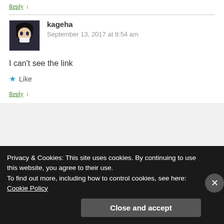Reply ↓
kageha
September 13, 2017 at 9:54 am
I can't see the link
★ Like
Reply ↓
Privacy & Cookies: This site uses cookies. By continuing to use this website, you agree to their use.
To find out more, including how to control cookies, see here: Cookie Policy
Close and accept